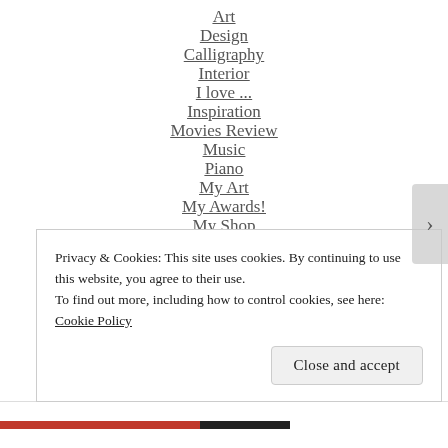Art
Design
Calligraphy
Interior
I love ...
Inspiration
Movies Review
Music
Piano
My Art
My Awards!
My Shop
Photography
Privacy & Cookies: This site uses cookies. By continuing to use this website, you agree to their use.
To find out more, including how to control cookies, see here: Cookie Policy
Close and accept